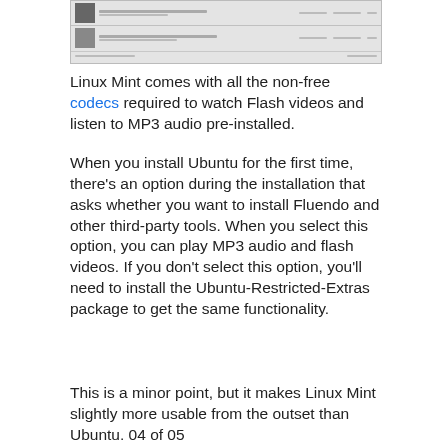[Figure (screenshot): Screenshot of a media player application showing a list of video files with thumbnails and metadata columns]
Linux Mint comes with all the non-free codecs required to watch Flash videos and listen to MP3 audio pre-installed.
When you install Ubuntu for the first time, there's an option during the installation that asks whether you want to install Fluendo and other third-party tools. When you select this option, you can play MP3 audio and flash videos. If you don't select this option, you'll need to install the Ubuntu-Restricted-Extras package to get the same functionality.
This is a minor point, but it makes Linux Mint slightly more usable from the outset than Ubuntu. 04 of 05